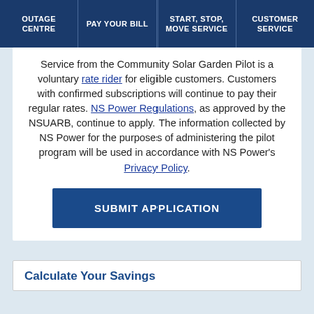OUTAGE CENTRE | PAY YOUR BILL | START, STOP, MOVE SERVICE | CUSTOMER SERVICE
Service from the Community Solar Garden Pilot is a voluntary rate rider for eligible customers. Customers with confirmed subscriptions will continue to pay their regular rates. NS Power Regulations, as approved by the NSUARB, continue to apply. The information collected by NS Power for the purposes of administering the pilot program will be used in accordance with NS Power's Privacy Policy.
SUBMIT APPLICATION
Calculate Your Savings